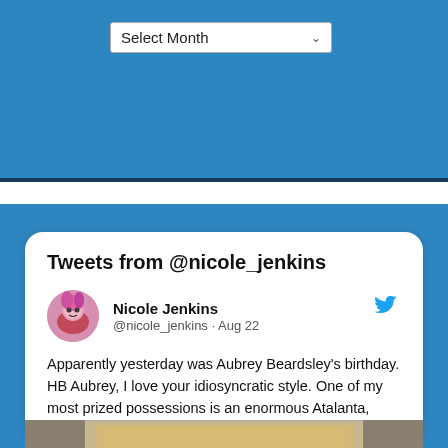[Figure (screenshot): Select Month dropdown widget on blue background]
Tweets from @nicole_jenkins
Nicole Jenkins @nicole_jenkins · Aug 22
Apparently yesterday was Aubrey Beardsley's birthday. HB Aubrey, I love your idiosyncratic style. One of my most prized possessions is an enormous Atalanta, which my parents acquired in the late '60s.
[Figure (photo): Partial photo of a framed artwork at the bottom of the tweet card]